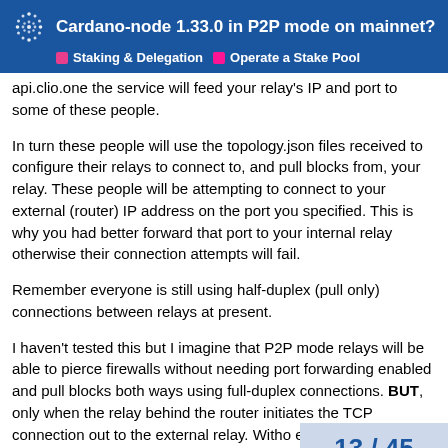Cardano-node 1.33.0 in P2P mode on mainnet? | Staking & Delegation | Operate a Stake Pool
api.clio.one the service will feed your relay's IP and port to some of these people.
In turn these people will use the topology.json files received to configure their relays to connect to, and pull blocks from, your relay. These people will be attempting to connect to your external (router) IP address on the port you specified. This is why you had better forward that port to your internal relay otherwise their connection attempts will fail.
Remember everyone is still using half-duplex (pull only) connections between relays at present.
I haven't tested this but I imagine that P2P mode relays will be able to pierce firewalls without needing port forwarding enabled and pull blocks both ways using full-duplex connections. BUT, only when the relay behind the router initiates the TCP connection out to the external relay. Witho external relay would still be unable to initia
13 / 45